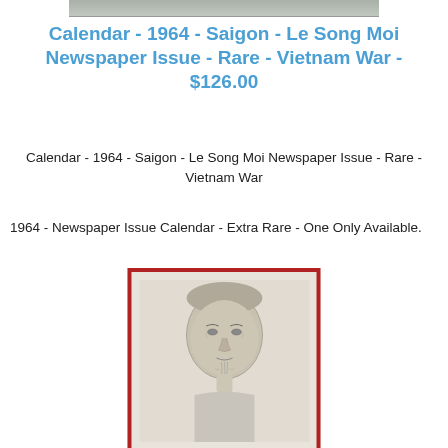[Figure (photo): Top partial image strip, appears to be a cropped photo artifact at the very top of the page]
Calendar - 1964 - Saigon - Le Song Moi Newspaper Issue - Rare - Vietnam War - $126.00
Calendar - 1964 - Saigon - Le Song Moi Newspaper Issue - Rare - Vietnam War
1964 - Newspaper Issue Calendar - Extra Rare - One Only Available.
[Figure (photo): Portrait drawing/sketch of an elderly Asian man with a thin beard, displayed in a red-bordered frame on light beige background]